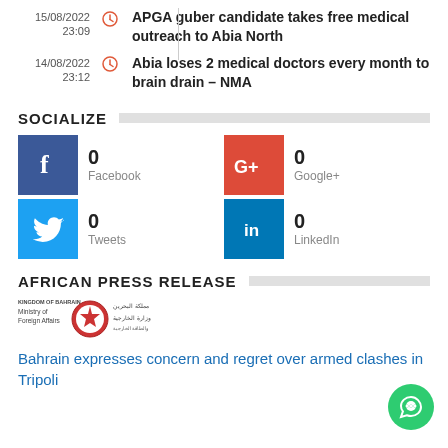15/08/2022 23:09 — APGA guber candidate takes free medical outreach to Abia North
14/08/2022 23:12 — Abia loses 2 medical doctors every month to brain drain – NMA
SOCIALIZE
0 Facebook
0 Google+
0 Tweets
0 LinkedIn
AFRICAN PRESS RELEASE
[Figure (logo): Kingdom of Bahrain Ministry of Foreign Affairs logo with emblem and Arabic text]
Bahrain expresses concern and regret over armed clashes in Tripoli